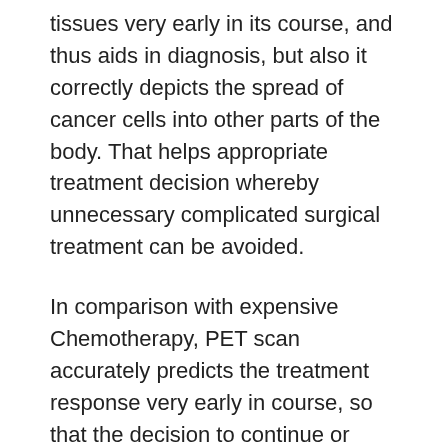tissues very early in its course, and thus aids in diagnosis, but also it correctly depicts the spread of cancer cells into other parts of the body. That helps appropriate treatment decision whereby unnecessary complicated surgical treatment can be avoided.
In comparison with expensive Chemotherapy, PET scan accurately predicts the treatment response very early in course, so that the decision to continue or discontinue and switching over to second line chemotherapy may be taken. It helps the Radiation Oncologist in giving appropriate and accurate amount of radiation in the cancer tissue. By detecting the